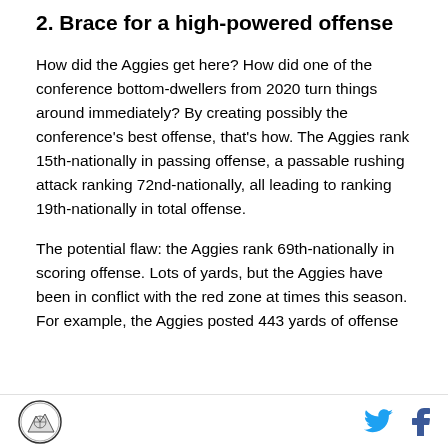2. Brace for a high-powered offense
How did the Aggies get here? How did one of the conference bottom-dwellers from 2020 turn things around immediately? By creating possibly the conference's best offense, that's how. The Aggies rank 15th-nationally in passing offense, a passable rushing attack ranking 72nd-nationally, all leading to ranking 19th-nationally in total offense.
The potential flaw: the Aggies rank 69th-nationally in scoring offense. Lots of yards, but the Aggies have been in conflict with the red zone at times this season. For example, the Aggies posted 443 yards of offense